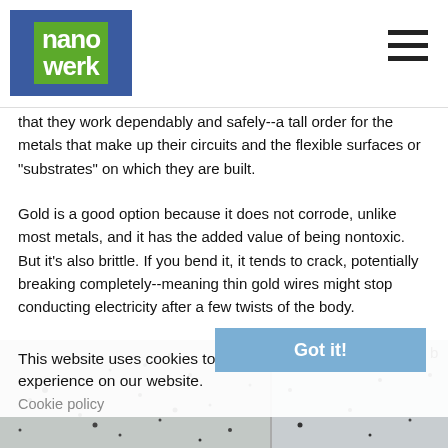nanowerk
that they work dependably and safely--a tall order for the metals that make up their circuits and the flexible surfaces or "substrates" on which they are built.
Gold is a good option because it does not corrode, unlike most metals, and it has the added value of being nontoxic. But it's also brittle. If you bend it, it tends to crack, potentially breaking completely--meaning thin gold wires might stop conducting electricity after a few twists of the body.
"Gold has been used to make wires that run across plastic surfaces, but until now the plastic has needed to be fairly rigid," said Reyes-Hernandez. "You wouldn't want it attached to you; it would be uncomfortable."
This website uses cookies to ensure you get the best experience on our website.
Cookie policy
Got it!
[Figure (photo): Microscopy images showing two panels (a and b) of what appears to be nanoparticle or material surface images, with scattered dark dots on a light background.]